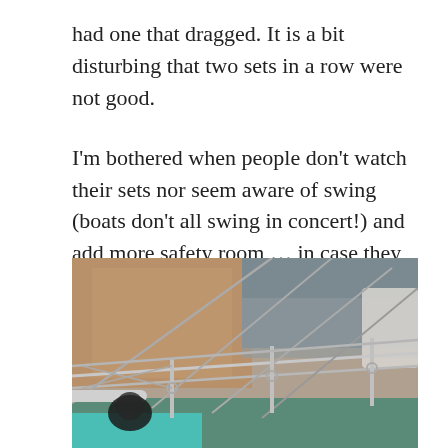had one that dragged. It is a bit disturbing that two sets in a row were not good.

I'm bothered when people don't watch their sets nor seem aware of swing (boats don't all swing in concert!) and add more safety room … in case they or another craft drags. A month ago I and another boater rescued a boat that was drifting through an anchorage – the boat's owner had set a 1:1 scope and gone out paddleboarding.
[Figure (photo): Close-up photo taken from aboard a sailboat showing rigging, stanchions, and lifelines in the foreground, with water and a rocky or wooded shoreline visible in the background. The image appears to be taken from a low angle looking along the deck.]